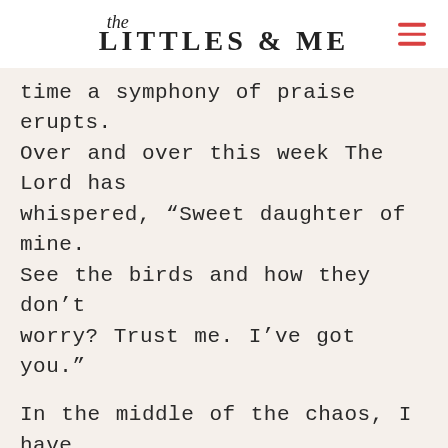the LITTLES & ME
time a symphony of praise erupts. Over and over this week The Lord has whispered, “Sweet daughter of mine. See the birds and how they don’t worry? Trust me. I’ve got you.”
In the middle of the chaos, I have been reminded of God’s faithfulness over the past 4 years. I encourage you to do the same. Count and name the ways that He has been faithful to you throughout your life. He has been faithful and will continue to be…